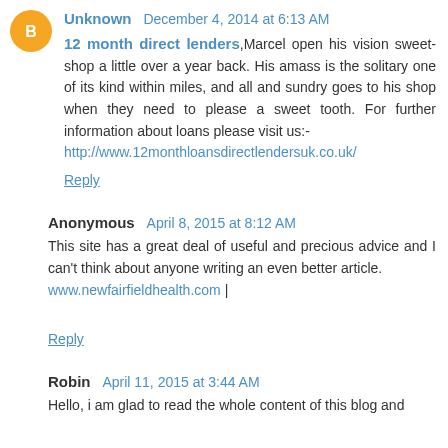Unknown December 4, 2014 at 6:13 AM
12 month direct lenders,Marcel open his vision sweet-shop a little over a year back. His amass is the solitary one of its kind within miles, and all and sundry goes to his shop when they need to please a sweet tooth. For further information about loans please visit us:- http://www.12monthloansdirectlendersuk.co.uk/
Reply
Anonymous April 8, 2015 at 8:12 AM
This site has a great deal of useful and precious advice and I can't think about anyone writing an even better article. www.newfairfieldhealth.com |
Reply
Robin April 11, 2015 at 3:44 AM
Hello, i am glad to read the whole content of this blog and